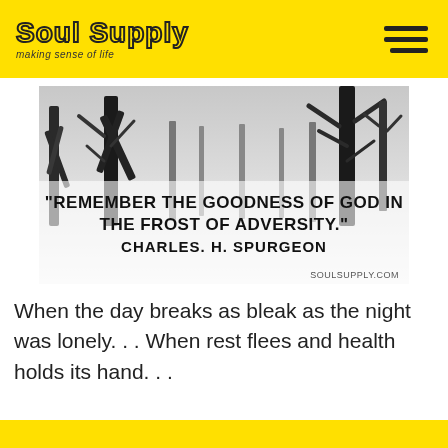Soul Supply — making sense of life
[Figure (photo): Black and white winter landscape photo with snow-covered ground and bare trees. Overlaid text reads: "REMEMBER THE GOODNESS OF GOD IN THE FROST OF ADVERSITY." CHARLES. H. SPURGEON. Bottom right watermark: SOULSUPPLY.COM]
When the day breaks as bleak as the night was lonely. . . When rest flees and health holds its hand. . .
Read more ❯